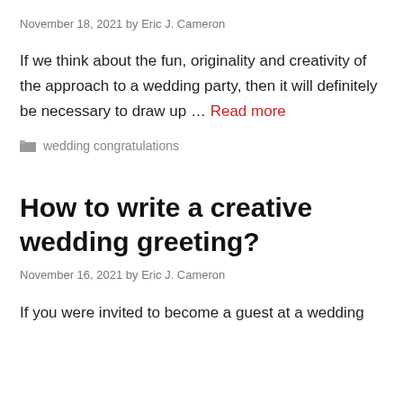November 18, 2021 by Eric J. Cameron
If we think about the fun, originality and creativity of the approach to a wedding party, then it will definitely be necessary to draw up … Read more
wedding congratulations
How to write a creative wedding greeting?
November 16, 2021 by Eric J. Cameron
If you were invited to become a guest at a wedding